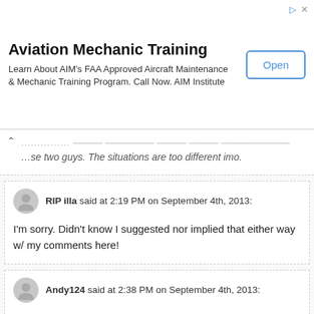[Figure (other): Advertisement banner for Aviation Mechanic Training with Open button]
...those two guys. The situations are too different imo.
RIP illa said at 2:19 PM on September 4th, 2013:
I'm sorry. Didn't know I suggested nor implied that either way w/ my comments here!
Andy124 said at 2:38 PM on September 4th, 2013:
It's ok. I forgive you.